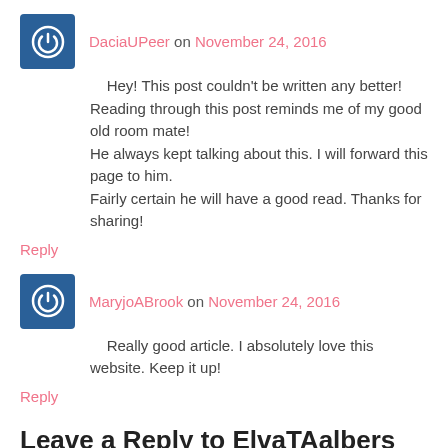DaciaUPeer on November 24, 2016
Hey! This post couldn't be written any better! Reading through this post reminds me of my good old room mate!
He always kept talking about this. I will forward this page to him.
Fairly certain he will have a good read. Thanks for sharing!
Reply
MaryjoABrook on November 24, 2016
Really good article. I absolutely love this website. Keep it up!
Reply
Leave a Reply to ElvaTAalbers Cancel reply